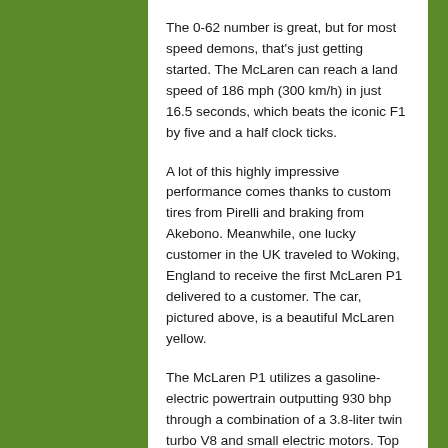The 0-62 number is great, but for most speed demons, that's just getting started. The McLaren can reach a land speed of 186 mph (300 km/h) in just 16.5 seconds, which beats the iconic F1 by five and a half clock ticks.
A lot of this highly impressive performance comes thanks to custom tires from Pirelli and braking from Akebono. Meanwhile, one lucky customer in the UK traveled to Woking, England to receive the first McLaren P1 delivered to a customer. The car, pictured above, is a beautiful McLaren yellow.
The McLaren P1 utilizes a gasoline-electric powertrain outputting 930 bhp through a combination of a 3.8-liter twin turbo V8 and small electric motors. Top speed in this powerful supercar is 217 mph (electronically limited) and yet the car is capable of a fuel-sipping 34 mpg on the highway (EU cycle) and can run fully